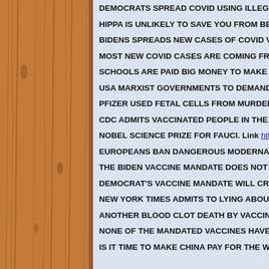[Figure (illustration): Brown wood-grain panel on the left side of the page]
DEMOCRATS SPREAD COVID USING ILLEGAL...
HIPPA IS UNLIKELY TO SAVE YOU FROM BEIN...
BIDENS SPREADS NEW CASES OF COVID VIR...
MOST NEW COVID CASES ARE COMING FROM...
SCHOOLS ARE PAID BIG MONEY TO MAKE YO...
USA MARXIST GOVERNMENTS TO DEMAND V...
PFIZER USED FETAL CELLS FROM MURDERE...
CDC ADMITS VACCINATED PEOPLE IN THE US...
NOBEL SCIENCE PRIZE FOR FAUCI. Link http://...
EUROPEANS BAN DANGEROUS MODERNA VA...
THE BIDEN VACCINE MANDATE DOES NOT HA...
DEMOCRAT'S VACCINE MANDATE WILL CREA...
NEW YORK TIMES ADMITS TO LYING ABOUT V...
ANOTHER BLOOD CLOT DEATH BY VACCINE.
NONE OF THE MANDATED VACCINES HAVE B...
IS IT TIME TO MAKE CHINA PAY FOR THE WH...